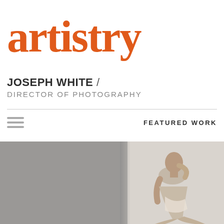artistry
JOSEPH WHITE / DIRECTOR OF PHOTOGRAPHY
FEATURED WORK
[Figure (photo): Fashion/portrait photograph of a woman seated, wearing minimal clothing, against a light background with grey tones on the left. Black and white / low-saturation editorial photo.]